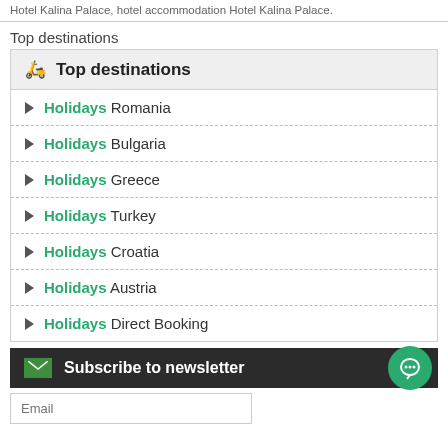Hotel Kalina Palace, hotel accommodation Hotel Kalina Palace.
Top destinations
Holidays Romania
Holidays Bulgaria
Holidays Greece
Holidays Turkey
Holidays Croatia
Holidays Austria
Holidays Direct Booking
Subscribe to newsletter
Email